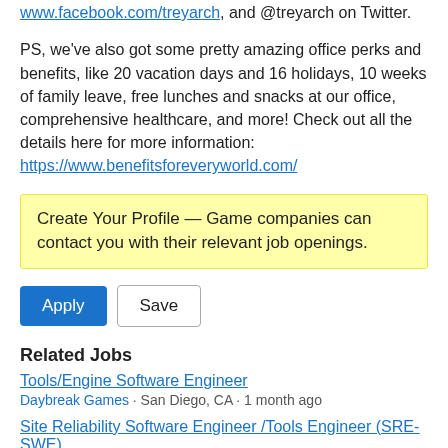www.facebook.com/treyarch, and @treyarch on Twitter.
PS, we've also got some pretty amazing office perks and benefits, like 20 vacation days and 16 holidays, 10 weeks of family leave, free lunches and snacks at our office, comprehensive healthcare, and more! Check out all the details here for more information: https://www.benefitsforeveryworld.com/
Create Your Profile — Game companies can contact you with their relevant job openings.
Apply  Save
Related Jobs
Tools/Engine Software Engineer
Daybreak Games · San Diego, CA · 1 month ago
Site Reliability Software Engineer /Tools Engineer (SRE-SWE)